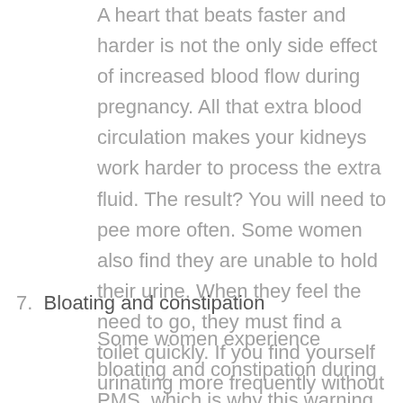A heart that beats faster and harder is not the only side effect of increased blood flow during pregnancy. All that extra blood circulation makes your kidneys work harder to process the extra fluid. The result? You will need to pee more often. Some women also find they are unable to hold their urine. When they feel the need to go, they must find a toilet quickly. If you find yourself urinating more frequently without any extra intake of fluids to account for it, you may be pregnant.
7. Bloating and constipation
Some women experience bloating and constipation during PMS, which is why this warning sign often is ignored. This duo of symptoms signals a change in your digestive